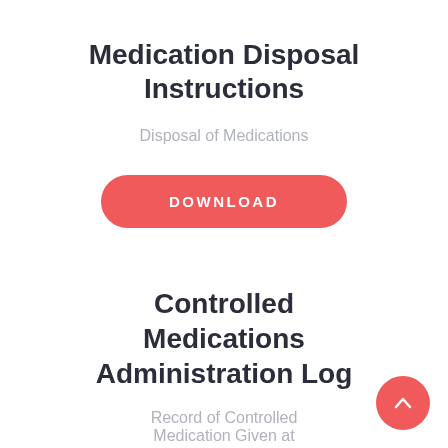Medication Disposal Instructions
Disposal of Medications
[Figure (other): Red rounded rectangle download button with text 'DOWNLOAD' in white uppercase letters]
Controlled Medications Administration Log
Record of Controlled Medication Given at
[Figure (other): Red circular FAB button with upward chevron arrow icon]